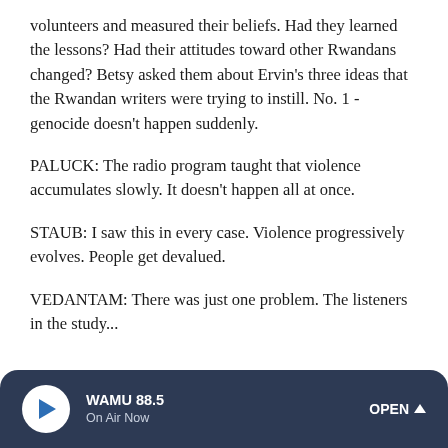volunteers and measured their beliefs. Had they learned the lessons? Had their attitudes toward other Rwandans changed? Betsy asked them about Ervin's three ideas that the Rwandan writers were trying to instill. No. 1 - genocide doesn't happen suddenly.
PALUCK: The radio program taught that violence accumulates slowly. It doesn't happen all at once.
STAUB: I saw this in every case. Violence progressively evolves. People get devalued.
VEDANTAM: There was just one problem. The listeners in the study...
WAMU 88.5 On Air Now OPEN